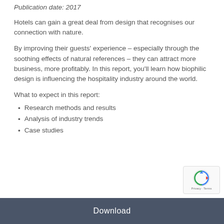Publication date: 2017
Hotels can gain a great deal from design that recognises our connection with nature.
By improving their guests' experience – especially through the soothing effects of natural references – they can attract more business, more profitably. In this report, you'll learn how biophilic design is influencing the hospitality industry around the world.
What to expect in this report:
Research methods and results
Analysis of industry trends
Case studies
Download